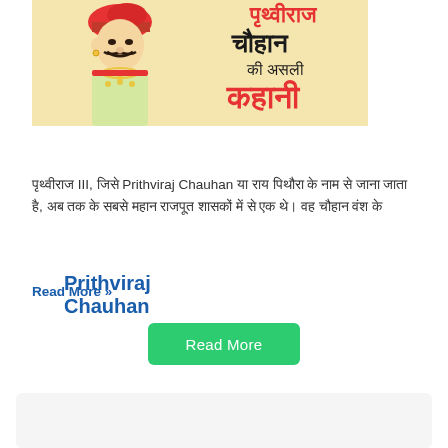[Figure (illustration): Illustrated artwork of Prithviraj Chauhan in traditional Rajput attire (red turban, jewelry, mustache) with Hindi text reading 'पृथ्वीराज चौहान की असली कहानी' on a yellow-cream background]
Prithviraj Chauhan
पृथ्वीराज III, जिसे Prithviraj Chauhan या राय पिथौरा के नाम से जाना जाता है, अब तक के सबसे महान राजपूत शासकों में से एक थे। वह चौहान वंश के
Read More »
Read More